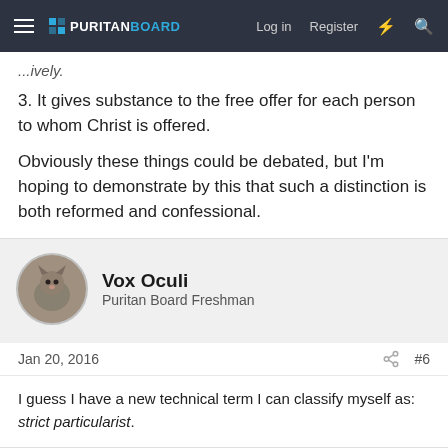Puritan Board — Log in  Register
...ively.
3. It gives substance to the free offer for each person to whom Christ is offered.
Obviously these things could be debated, but I'm hoping to demonstrate by this that such a distinction is both reformed and confessional.
Vox Oculi
Puritan Board Freshman
Jan 20, 2016  #6
I guess I have a new technical term I can classify myself as: strict particularist.
Hamalas